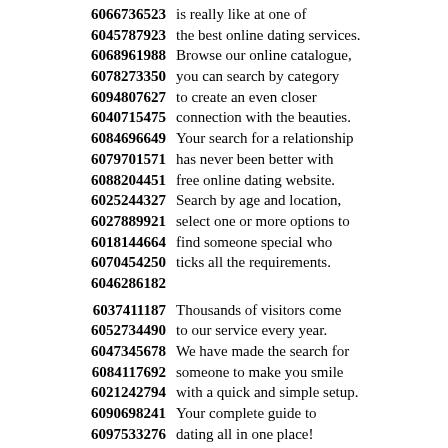6066736523 is really like at one of
6045787923 the best online dating services.
6068961988 Browse our online catalogue,
6078273350 you can search by category
6094807627 to create an even closer
6040715475 connection with the beauties.
6084696649 Your search for a relationship
6079701571 has never been better with
6088204451 free online dating website.
6025244327 Search by age and location,
6027889921 select one or more options to
6018144664 find someone special who
6070454250 ticks all the requirements.
6046286182
6037411187 Thousands of visitors come
6052734490 to our service every year.
6047345678 We have made the search for
6084117692 someone to make you smile
6021242794 with a quick and simple setup.
6090698241 Your complete guide to
6097533276 dating all in one place!
6079529135 We conduct background checks
6023206902 to ensure a good service
6018267757 experience with people who are
6052902846 single and have never married.